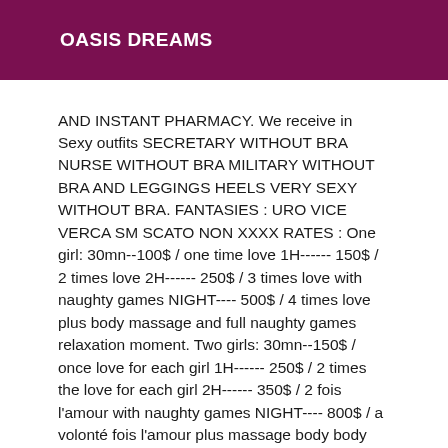OASIS DREAMS
AND INSTANT PHARMACY. We receive in Sexy outfits SECRETARY WITHOUT BRA NURSE WITHOUT BRA MILITARY WITHOUT BRA AND LEGGINGS HEELS VERY SEXY WITHOUT BRA. FANTASIES : URO VICE VERCA SM SCATO NON XXXX RATES : One girl: 30mn--100$ / one time love 1H------ 150$ / 2 times love 2H------ 250$ / 3 times love with naughty games NIGHT---- 500$ / 4 times love plus body massage and full naughty games relaxation moment. Two girls: 30mn--150$ / once love for each girl 1H------ 250$ / 2 times the love for each girl 2H------ 350$ / 2 fois l'amour with naughty games NIGHT---- 800$ / a volonté fois l'amour plus massage body body and full games naughty moment relaxation. CALL: We no longer answer the SMS hidden call and no longer send our photos everything is marked here in the ad unnecessary to insist likely to hang up on you directly. MOVE : For a first